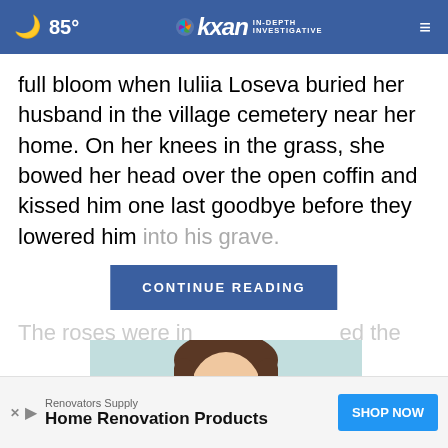85° kxan IN-DEPTH INVESTIGATIVE
full bloom when Iuliia Loseva buried her husband in the village cemetery near her home. On her knees in the grass, she bowed her head over the open coffin and kissed him one last goodbye before they lowered him into his grave.
CONTINUE READING
[Figure (photo): Young woman smiling, advertisement photo for Renovators Supply]
Renovators Supply Home Renovation Products SHOP NOW